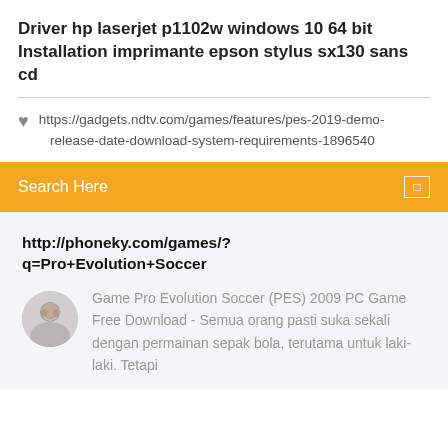Driver hp laserjet p1102w windows 10 64 bit
Installation imprimante epson stylus sx130 sans cd
https://gadgets.ndtv.com/games/features/pes-2019-demo-release-date-download-system-requirements-1896540
Search Here
http://phoneky.com/games/?q=Pro+Evolution+Soccer
Game Pro Evolution Soccer (PES) 2009 PC Game Free Download - Semua orang pasti suka sekali dengan permainan sepak bola, terutama untuk laki-laki. Tetapi